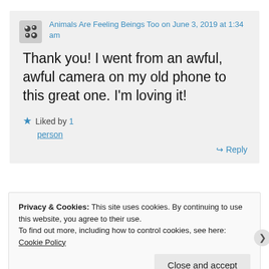Animals Are Feeling Beings Too on June 3, 2019 at 1:34 am
Thank you! I went from an awful, awful camera on my old phone to this great one. I'm loving it!
Liked by 1 person
↳ Reply
Privacy & Cookies: This site uses cookies. By continuing to use this website, you agree to their use. To find out more, including how to control cookies, see here: Cookie Policy
Close and accept